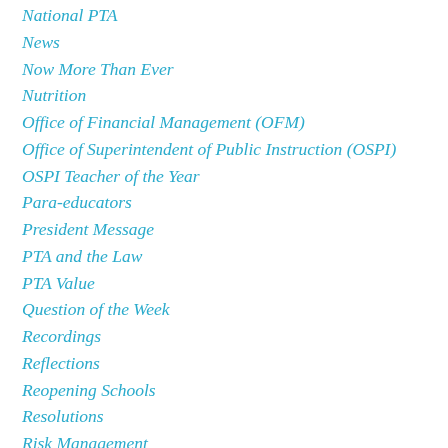National PTA
News
Now More Than Ever
Nutrition
Office of Financial Management (OFM)
Office of Superintendent of Public Instruction (OSPI)
OSPI Teacher of the Year
Para-educators
President Message
PTA and the Law
PTA Value
Question of the Week
Recordings
Reflections
Reopening Schools
Resolutions
Risk Management